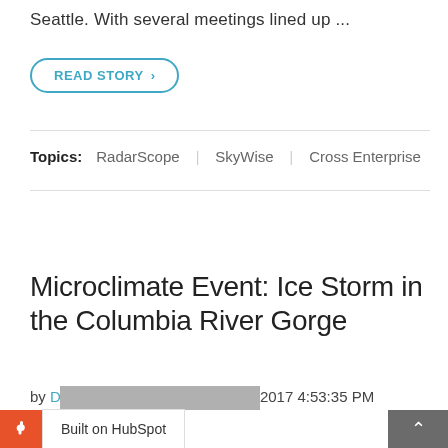Seattle. With several meetings lined up ...
READ STORY ›
Topics: RadarScope | SkyWise | Cross Enterprise
Microclimate Event: Ice Storm in the Columbia River Gorge
by Daphne Thompson, on Jan 19, 2017 4:53:35 PM
[Figure (screenshot): Bottom bar with HubSpot badge and scroll-up button]
[Figure (photo): Partial image strip at the bottom of the page]